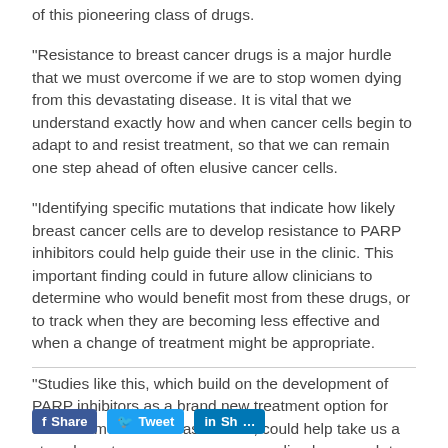of this pioneering class of drugs.
“Resistance to breast cancer drugs is a major hurdle that we must overcome if we are to stop women dying from this devastating disease. It is vital that we understand exactly how and when cancer cells begin to adapt to and resist treatment, so that we can remain one step ahead of often elusive cancer cells.
“Identifying specific mutations that indicate how likely breast cancer cells are to develop resistance to PARP inhibitors could help guide their use in the clinic. This important finding could in future allow clinicians to determine who would benefit most from these drugs, or to track when they are becoming less effective and when a change of treatment might be appropriate.
“Studies like this, which build on the development of PARP inhibitors as a brand new treatment option for some women with breast cancer, could help take us a step closer to an even more personalised approach to treating the disease.”
[Figure (other): Social sharing buttons: Facebook Share, Twitter Tweet, LinkedIn share]